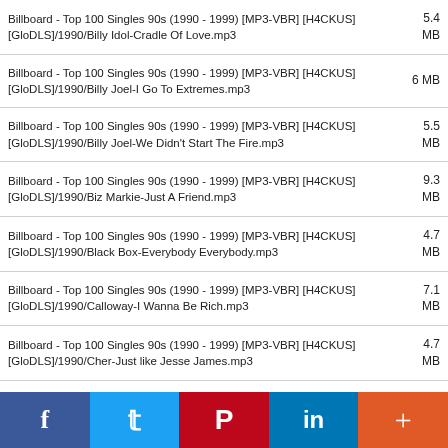| File | Size |
| --- | --- |
| Billboard - Top 100 Singles 90s (1990 - 1999) [MP3-VBR] [H4CKUS][GloDLS]/1990/Billy Idol-Cradle Of Love.mp3 | 5.4 MB |
| Billboard - Top 100 Singles 90s (1990 - 1999) [MP3-VBR] [H4CKUS][GloDLS]/1990/Billy Joel-I Go To Extremes.mp3 | 6 MB |
| Billboard - Top 100 Singles 90s (1990 - 1999) [MP3-VBR] [H4CKUS][GloDLS]/1990/Billy Joel-We Didn't Start The Fire.mp3 | 5.5 MB |
| Billboard - Top 100 Singles 90s (1990 - 1999) [MP3-VBR] [H4CKUS][GloDLS]/1990/Biz Markie-Just A Friend.mp3 | 9.3 MB |
| Billboard - Top 100 Singles 90s (1990 - 1999) [MP3-VBR] [H4CKUS][GloDLS]/1990/Black Box-Everybody Everybody.mp3 | 4.7 MB |
| Billboard - Top 100 Singles 90s (1990 - 1999) [MP3-VBR] [H4CKUS][GloDLS]/1990/Calloway-I Wanna Be Rich.mp3 | 7.1 MB |
| Billboard - Top 100 Singles 90s (1990 - 1999) [MP3-VBR] [H4CKUS][GloDLS]/1990/Cher-Just like Jesse James.mp3 | 4.7 MB |
| Billboard - Top 100 Singles 90s (1990 - 1999) [MP3-VBR] [H4CKUS] | 9.9 |